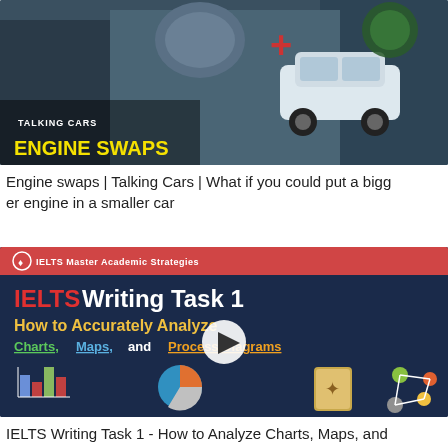[Figure (screenshot): Video thumbnail for 'Talking Cars - Engine Swaps' showing two people in a car and a white car with text 'TALKING CARS ENGINE SWAPS']
Engine swaps | Talking Cars | What if you could put a bigger engine in a smaller car
[Figure (screenshot): Video thumbnail for IELTS Master Academic Strategies - IELTS Writing Task 1 - How to Accurately Analyze Charts, Maps, and Process Diagrams, with play button overlay and icons for charts, maps, and diagrams]
IELTS Writing Task 1 - How to Analyze Charts, Maps, and Process Diagrams